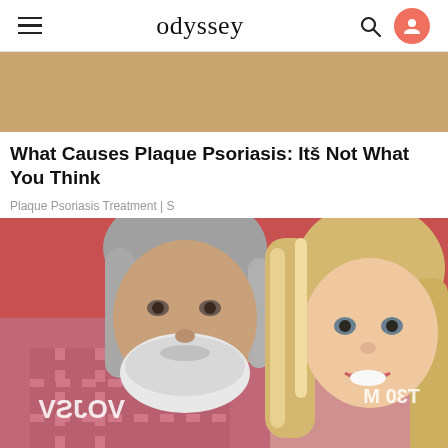odyssey
[Figure (photo): Ad banner with tan/gold background]
What Causes Plaque Psoriasis: Itš Not What You Think
Plaque Psoriasis Treatment | S
[Figure (photo): Two people posing in front of a red backdrop: an older man with white beard and long gray hair wearing a plaid shirt, and a younger blonde woman smiling, with partial reversed text visible on the backdrop]